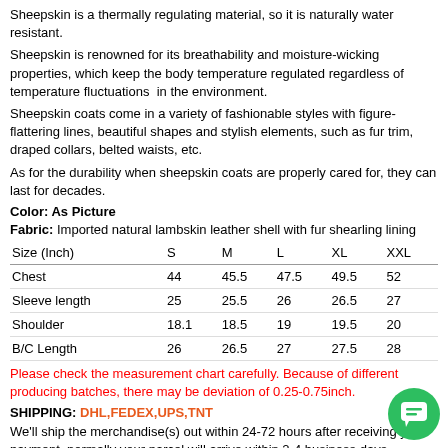Sheepskin is a thermally regulating material, so it is naturally water resistant.
Sheepskin is renowned for its breathability and moisture-wicking properties, which keep the body temperature regulated regardless of temperature fluctuations in the environment.
Sheepskin coats come in a variety of fashionable styles with figure-flattering lines, beautiful shapes and stylish elements, such as fur trim, draped collars, belted waists, etc.
As for the durability when sheepskin coats are properly cared for, they can last for decades.
Color: As Picture
Fabric: Imported natural lambskin leather shell with fur shearling lining
| Size (Inch) | S | M | L | XL | XXL |
| --- | --- | --- | --- | --- | --- |
| Chest | 44 | 45.5 | 47.5 | 49.5 | 52 |
| Sleeve length | 25 | 25.5 | 26 | 26.5 | 27 |
| Shoulder | 18.1 | 18.5 | 19 | 19.5 | 20 |
| B/C Length | 26 | 26.5 | 27 | 27.5 | 28 |
Please check the measurement chart carefully. Because of different producing batches, there may be deviation of 0.25-0.75inch.
SHIPPING: DHL,FEDEX,UPS,TNT
We'll ship the merchandise(s) out within 24-72 hours after receiving your payment, normally your parcel will arrive within 2-4 business days.
PAYMENT: PAYPAL WESTERN UNION
Remarks:
1. Please note that due to limitations in photography and the inevitable difference in monitor settings, the colors shown in the photo may not correspond 100% to the items themselves.
2. Since every product we send is according to the real size that the customer